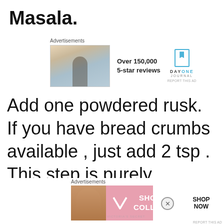Masala.
[Figure (photo): Advertisement block: DayOne Journal app ad with photo of person taking photo at sunset, text 'Over 150,000 5-star reviews', DayOne Journal logo]
Add one powdered rusk. If you have bread crumbs available , just add 2 tsp . This step is purely optional. This will help to keep
[Figure (photo): Advertisement banner: Victoria's Secret 'SHOP THE COLLECTION' pink banner with model photo and SHOP NOW button]